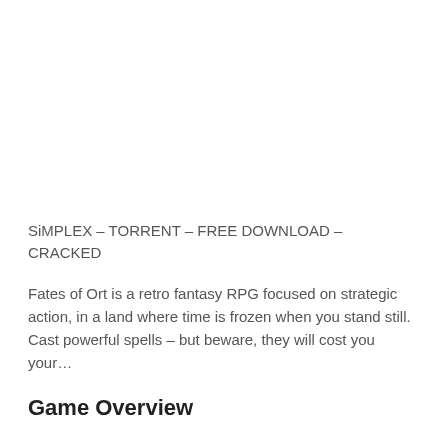SiMPLEX – TORRENT – FREE DOWNLOAD – CRACKED
Fates of Ort is a retro fantasy RPG focused on strategic action, in a land where time is frozen when you stand still. Cast powerful spells – but beware, they will cost you your…
Game Overview